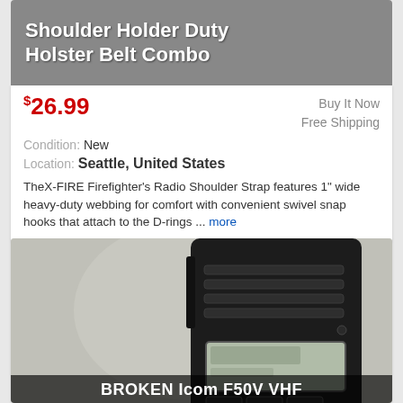Shoulder Holder Duty Holster Belt Combo
$26.99
Buy It Now
Free Shipping
Condition: New
Location: Seattle, United States
TheX-FIRE Firefighter's Radio Shoulder Strap features 1" wide heavy-duty webbing for comfort with convenient swivel snap hooks that attach to the D-rings ... more
[Figure (photo): Black handheld radio (walkie-talkie) device, Icom F50V VHF, labeled BROKEN at the bottom]